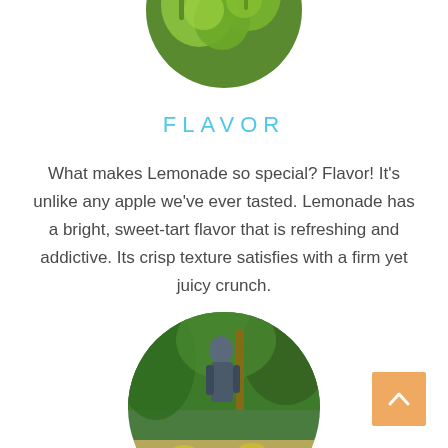[Figure (photo): Circular cropped photo of green apples on a tree with leaves, partially visible from the top of the page]
FLAVOR
What makes Lemonade so special? Flavor! It's unlike any apple we've ever tasted. Lemonade has a bright, sweet-tart flavor that is refreshing and addictive. Its crisp texture satisfies with a firm yet juicy crunch.
[Figure (photo): Circular cropped photo of a person in an orchard with yellow-green apples in the foreground, partially visible at the bottom of the page]
[Figure (other): Orange square button with an upward-pointing arrow chevron in the bottom-right corner]